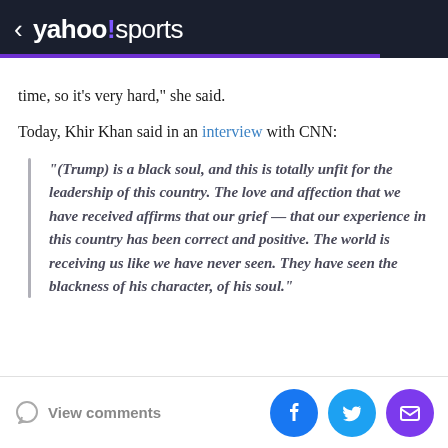< yahoo!sports
time, so it's very hard," she said.
Today, Khir Khan said in an interview with CNN:
“(Trump) is a black soul, and this is totally unfit for the leadership of this country. The love and affection that we have received affirms that our grief — that our experience in this country has been correct and positive. The world is receiving us like we have never seen. They have seen the blackness of his character, of his soul.”
View comments